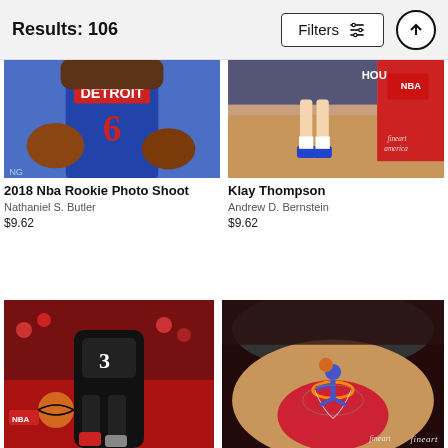Results: 106
[Figure (photo): Basketball player in Detroit #6 jersey holding a ball]
2018 Nba Rookie Photo Shoot
Nathaniel S. Butler
$9.62
[Figure (photo): Basketball player legs on court with HOU sign, NBA branding]
Klay Thompson
Andrew D. Bernstein
$9.62
[Figure (photo): Basketball player dribbling in front of red crowd]
[Figure (photo): Aerial view of basketball player dunking with crowd in background, fineart watermark]